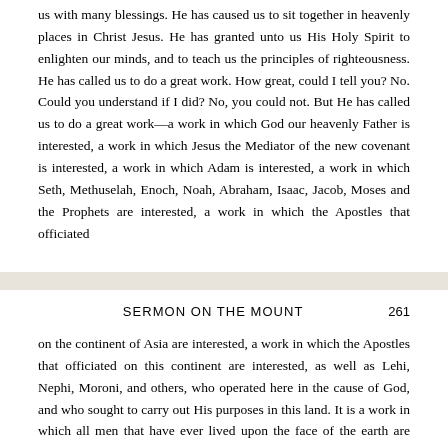us with many blessings. He has caused us to sit together in heavenly places in Christ Jesus. He has granted unto us His Holy Spirit to enlighten our minds, and to teach us the principles of righteousness. He has called us to do a great work. How great, could I tell you? No. Could you understand if I did? No, you could not. But He has called us to do a great work—a work in which God our heavenly Father is interested, a work in which Jesus the Mediator of the new covenant is interested, a work in which Adam is interested, a work in which Seth, Methuselah, Enoch, Noah, Abraham, Isaac, Jacob, Moses and the Prophets are interested, a work in which the Apostles that officiated
SERMON ON THE MOUNT    261
on the continent of Asia are interested, a work in which the Apostles that officiated on this continent are interested, as well as Lehi, Nephi, Moroni, and others, who operated here in the cause of God, and who sought to carry out His purposes in this land. It is a work in which all men that have ever lived upon the face of the earth are interested. It is a work in which the Gods in